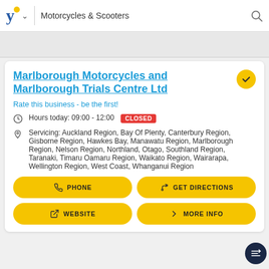Motorcycles & Scooters
Marlborough Motorcycles and Marlborough Trials Centre Ltd
Rate this business - be the first!
Hours today: 09:00 - 12:00  CLOSED
Servicing: Auckland Region, Bay Of Plenty, Canterbury Region, Gisborne Region, Hawkes Bay, Manawatu Region, Marlborough Region, Nelson Region, Northland, Otago, Southland Region, Taranaki, Timaru Oamaru Region, Waikato Region, Wairarapa, Wellington Region, West Coast, Whanganui Region
PHONE
GET DIRECTIONS
WEBSITE
MORE INFO